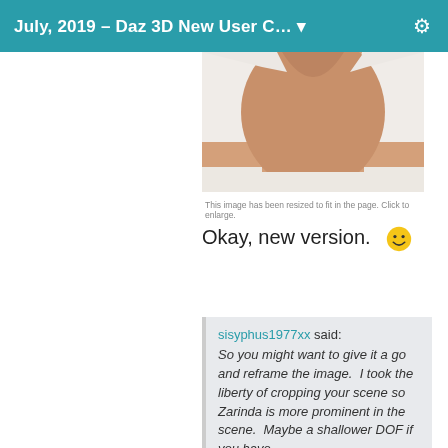July, 2019 – Daz 3D New User C…
[Figure (photo): Cropped photo showing a figure in a white low-back top, skin visible, partial torso view]
This image has been resized to fit in the page. Click to enlarge.
Okay, new version. 🙂
sisyphus1977xx said: So you might want to give it a go and reframe the image.  I took the liberty of cropping your scene so Zarinda is more prominent in the scene.  Maybe a shallower DOF if you have